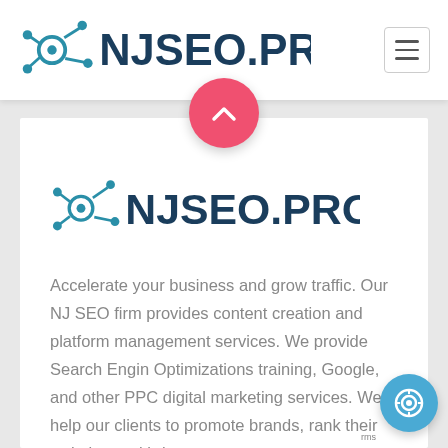NJSEO.PRO navigation bar with logo and hamburger menu
[Figure (logo): NJSEO.PRO logo with network/SEO icon in teal and dark navy text in the navigation bar]
[Figure (other): Pink circular scroll-to-top button with chevron up arrow]
[Figure (logo): NJSEO.PRO logo with network/SEO icon in teal and dark navy text inside content card]
Accelerate your business and grow traffic. Our NJ SEO firm provides content creation and platform management services. We provide Search Engin Optimizations training, Google, and other PPC digital marketing services. We help our clients to promote brands, rank their website, and bring more
[Figure (other): Teal circular chat/contact button with target/eye icon at bottom right]